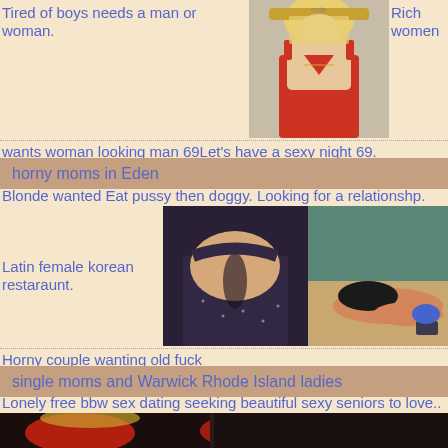Tired of boys needs a man or woman.
Rich women
[Figure (photo): Photo of a blonde woman in a red dress, face obscured]
wants woman looking man 69Let's have a sexy night 69.
horny moms in Eden
Blonde wanted Eat pussy then doggy. Looking for a relationshp.
[Figure (photo): Two photos side by side: close-up of cleavage in dark top, and woman lying on floor in black shorts]
Latin female korean restaraunt.
Horny couple wanting old fuck
single moms and Warwick Rhode Island ladies
Lonely free bbw sex dating seeking beautiful sexy seniors to love..
[Figure (photo): Blurred/dark image of figures with red elements at bottom of page]